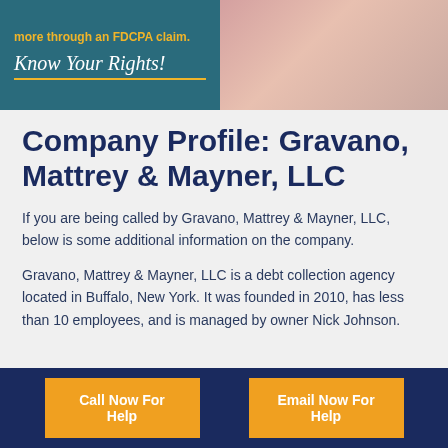[Figure (illustration): Banner with teal background on left showing 'more through an FDCPA claim.' text and 'Know Your Rights!' in italic with orange underline, and a photo of a woman in pink on the right side]
Company Profile: Gravano, Mattrey & Mayner, LLC
If you are being called by Gravano, Mattrey & Mayner, LLC, below is some additional information on the company.
Gravano, Mattrey & Mayner, LLC is a debt collection agency located in Buffalo, New York. It was founded in 2010, has less than 10 employees, and is managed by owner Nick Johnson.
Call Now For Help | Email Now For Help